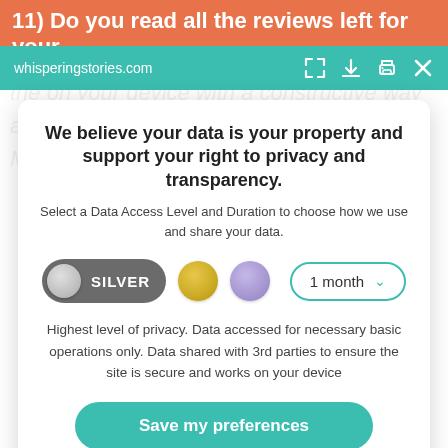11) Do you read all the reviews left for your
whisperingstories.com
We believe your data is your property and support your right to privacy and transparency.
Select a Data Access Level and Duration to choose how we use and share your data.
[Figure (screenshot): Privacy consent controls: SILVER toggle pill selected, gold circle option, purple circle option, 1 month dropdown selector]
Highest level of privacy. Data accessed for necessary basic operations only. Data shared with 3rd parties to ensure the site is secure and works on your device
Save my preferences
Customize
Privacy policy